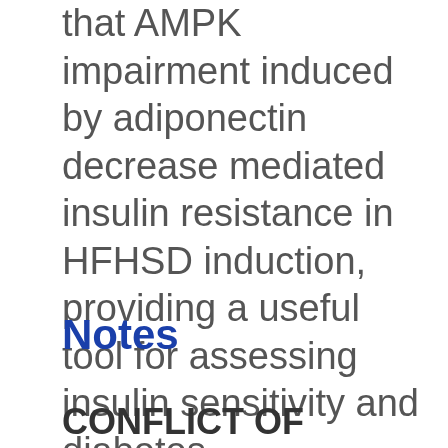that AMPK impairment induced by adiponectin decrease mediated insulin resistance in HFHSD induction, providing a useful tool for assessing insulin sensitivity and diabetes.
Notes
CONFLICT OF INTEREST